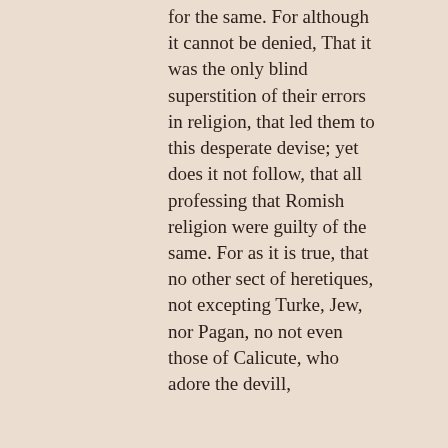for the same. For although it cannot be denied, That it was the only blind superstition of their errors in religion, that led them to this desperate devise; yet does it not follow, that all professing that Romish religion were guilty of the same. For as it is true, that no other sect of heretiques, not excepting Turke, Jew, nor Pagan, no not even those of Calicute, who adore the devill,